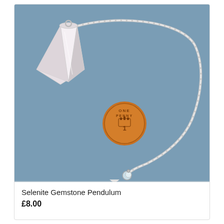[Figure (photo): A white selenite gemstone pendulum with a silver chain and small clear crystal bead at the end. Next to it is a UK one penny copper coin for size reference. Background is grey-blue.]
Selenite Gemstone Pendulum
£8.00